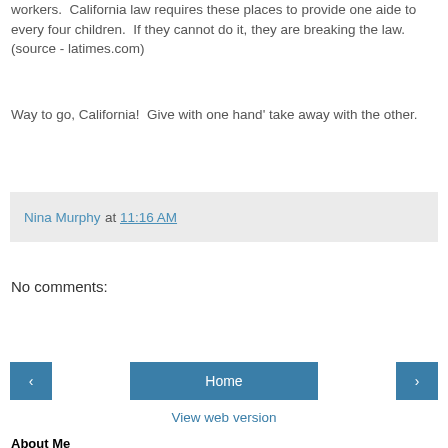workers.  California law requires these places to provide one aide to every four children.  If they cannot do it, they are breaking the law.
(source - latimes.com)
Way to go, California!  Give with one hand' take away with the other.
Nina Murphy at 11:16 AM
No comments:
Post a Comment
Home
View web version
About Me